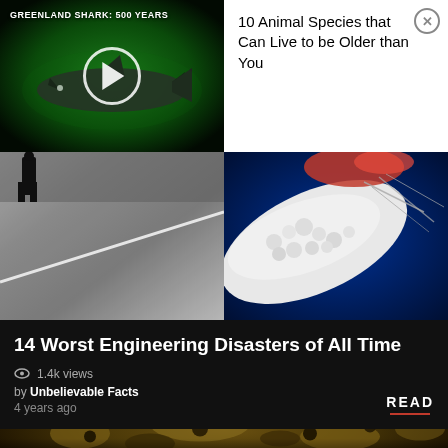[Figure (screenshot): Video thumbnail showing a Greenland shark against a green underwater background with a play button overlay. Label reads: GREENLAND SHARK: 500 YEARS]
10 Animal Species that Can Live to be Older than You
[Figure (photo): Black and white photo of a road or court with a white diagonal line and a silhouette of a person at the top left]
[Figure (photo): Color photo of white coral or sea creature against a deep blue ocean background with red accents]
14 Worst Engineering Disasters of All Time
1.4k views
by Unbelievable Facts
4 years ago
READ
[Figure (photo): Dark image of an animal with yellow-green and brown mottled texture, possibly a reptile or big cat, at the very bottom of the screen]